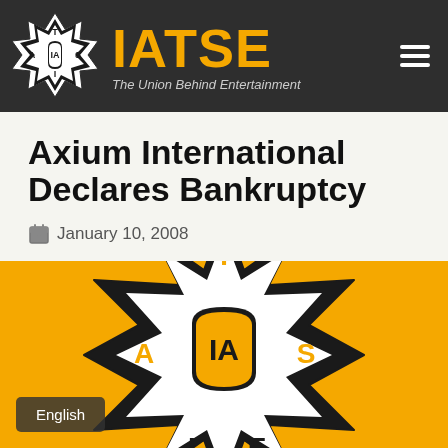[Figure (logo): IATSE logo and navigation header bar with dark background, IATSE crest logo on left, IATSE text in gold, tagline 'The Union Behind Entertainment' in italic, and hamburger menu on right]
Axium International Declares Bankruptcy
January 10, 2008
[Figure (logo): IATSE emblem on yellow/golden background — large starburst/maltese cross badge with letters I, A, T, S, E and central IA shield crest, in black and white on gold. English button overlay in bottom left.]